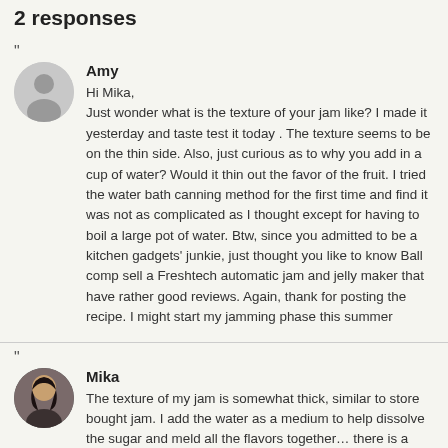2 responses
"
Amy
Hi Mika,
Just wonder what is the texture of your jam like? I made it yesterday and taste test it today . The texture seems to be on the thin side. Also, just curious as to why you add in a cup of water? Would it thin out the favor of the fruit. I tried the water bath canning method for the first time and find it was not as complicated as I thought except for having to boil a large pot of water. Btw, since you admitted to be a kitchen gadgets' junkie, just thought you like to know Ball comp sell a Freshtech automatic jam and jelly maker that have rather good reviews. Again, thank for posting the recipe. I might start my jamming phase this summer
"
Mika
The texture of my jam is somewhat thick, similar to store bought jam. I add the water as a medium to help dissolve the sugar and meld all the flavors together… there is a certain amount of liquid that I find is helpful in the process. Plus, in the cooking